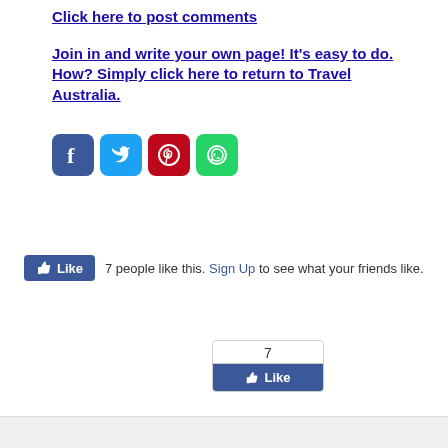Click here to post comments
Join in and write your own page! It's easy to do. How? Simply click here to return to Travel Australia.
[Figure (other): Social media share buttons: Facebook, Twitter, Pinterest, WhatsApp]
7 people like this. Sign Up to see what your friends like.
[Figure (other): Facebook Like box showing count of 7 and Like button]
Page Top
[Figure (other): Enjoy-Darwin.com on facebook banner and footer social icons]